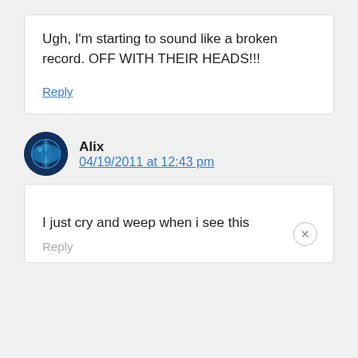Ugh, I'm starting to sound like a broken record. OFF WITH THEIR HEADS!!!
Reply
Alix
04/19/2011 at 12:43 pm
I just cry and weep when i see this
Reply